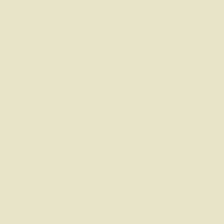[Figure (screenshot): Advertisement banner: blue box with Connection logo text and 'we solve it' tagline, with close/play icons below. Gold USB drive image to the right.]
}
[/php]
Example Output
PHP Code:
$myvar = 'Hello World!';
for ($i = 0; $i < 10; $i++)
{
    echo $myvar . "\n";
}
HTML Code
The [html] tag allows you to perform syntax highlighting for HTML code.
Usage
[html]value[/html]
Example Usage
[html]
<img src="image.gif" alt="image" />
<a href="testing.html" target="_blank">Te
[/html]
Example Output
HTML Code:
<img src="image.gif" alt="im